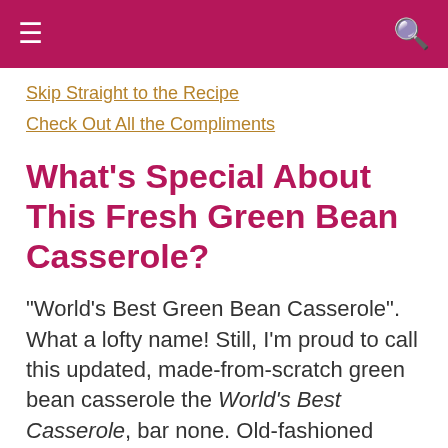≡  🔍
Skip Straight to the Recipe
Check Out All the Compliments
What's Special About This Fresh Green Bean Casserole?
"World's Best Green Bean Casserole". What a lofty name! Still, I'm proud to call this updated, made-from-scratch green bean casserole the World's Best Casserole, bar none. Old-fashioned comfort food? You bet! Just fresher, the way green bean casserole should be.
A fresh green bean casserole is a revelation, a big reminder how fresh ingredients can transform an outdated canned-food casserole into sheer